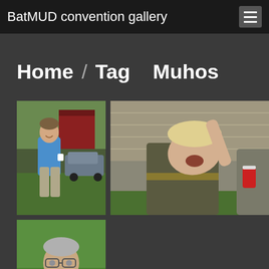BatMUD convention gallery
Home / Tag   Muhos
[Figure (photo): Man in blue t-shirt standing outdoors near a red building and a car, holding a white cup]
[Figure (photo): Young man tilting his head back outdoors, wearing a dark shirt, partially visible person beside him holding a red can]
[Figure (photo): Older man with glasses wearing a grey zip-up jacket standing on green grass]